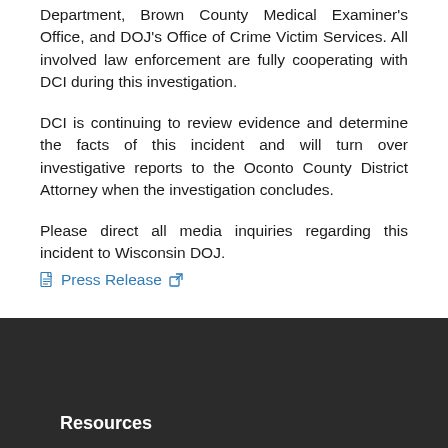Department, Brown County Medical Examiner's Office, and DOJ's Office of Crime Victim Services. All involved law enforcement are fully cooperating with DCI during this investigation.
DCI is continuing to review evidence and determine the facts of this incident and will turn over investigative reports to the Oconto County District Attorney when the investigation concludes.
Please direct all media inquiries regarding this incident to Wisconsin DOJ.
Press Release
Resources